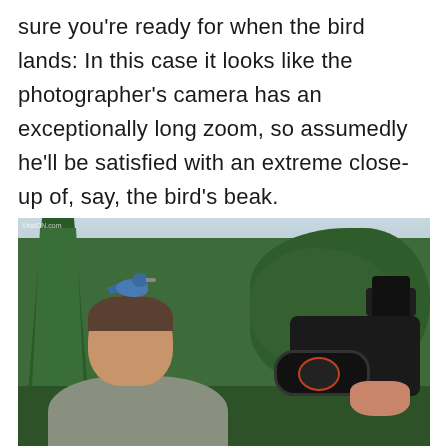sure you're ready for when the bird lands: In this case it looks like the photographer's camera has an exceptionally long zoom, so assumedly he'll be satisfied with an extreme close-up of, say, the bird's beak.
[Figure (photo): A blue jay bird perched on top of a photographer's head. The photographer is holding a large DSLR camera with a long zoom lens and an external flash. The setting is outdoors with green trees and bushes in the background.]